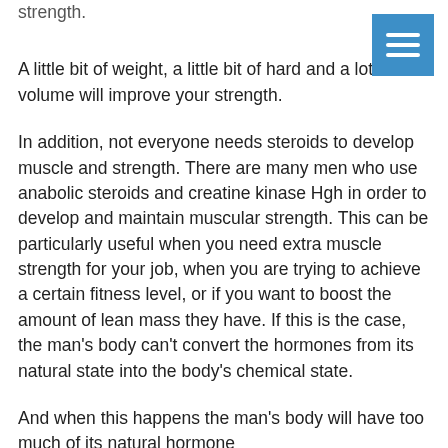strength.
A little bit of weight, a little bit of hard and a lot of volume will improve your strength.
In addition, not everyone needs steroids to develop muscle and strength. There are many men who use anabolic steroids and creatine kinase Hgh in order to develop and maintain muscular strength. This can be particularly useful when you need extra muscle strength for your job, when you are trying to achieve a certain fitness level, or if you want to boost the amount of lean mass they have. If this is the case, the man's body can't convert the hormones from its natural state into the body's chemical state.
And when this happens the man's body will have too much of its natural hormone